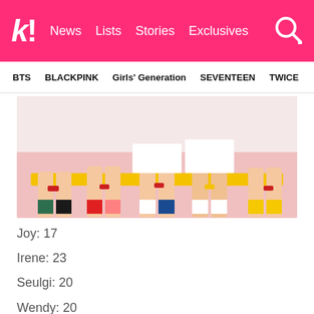k! News Lists Stories Exclusives
BTS  BLACKPINK  Girls' Generation  SEVENTEEN  TWICE
[Figure (photo): Group photo showing legs of K-pop girl group members sitting on a yellow bench, wearing colorful outfits and socks]
Joy: 17
Irene: 23
Seulgi: 20
Wendy: 20
3. Dreamcatcher: 20.1 years old